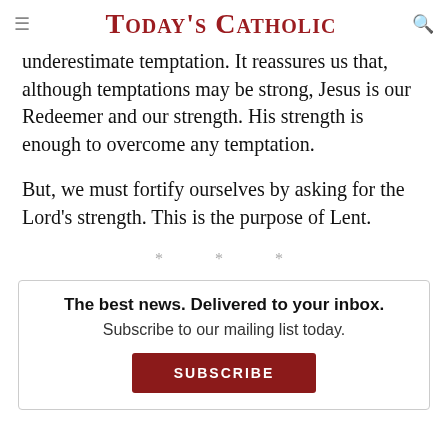Today's Catholic
underestimate temptation. It reassures us that, although temptations may be strong, Jesus is our Redeemer and our strength. His strength is enough to overcome any temptation.
But, we must fortify ourselves by asking for the Lord's strength. This is the purpose of Lent.
* * *
The best news. Delivered to your inbox.
Subscribe to our mailing list today.
SUBSCRIBE